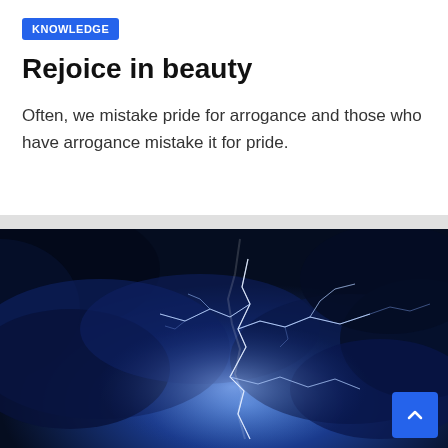KNOWLEDGE
Rejoice in beauty
Often, we mistake pride for arrogance and those who have arrogance mistake it for pride.
[Figure (photo): A dramatic lightning strike against a deep blue stormy night sky with dark clouds illuminated by the lightning bolt]